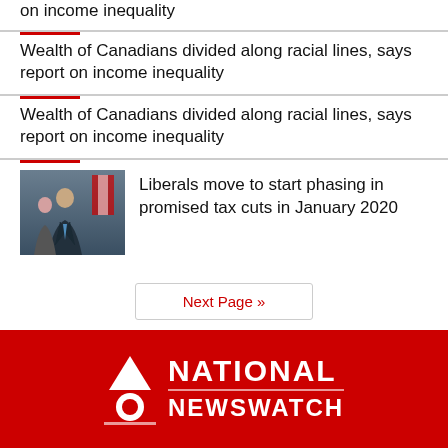on income inequality
Wealth of Canadians divided along racial lines, says report on income inequality
Wealth of Canadians divided along racial lines, says report on income inequality
[Figure (photo): A man in a dark suit with a blue tie speaking at a podium, with a Canadian flag visible in the background and a woman standing behind him.]
Liberals move to start phasing in promised tax cuts in January 2020
Next Page »
Tweets by @natnewswatch
[Figure (logo): National Newswatch logo on a red background with a white triangular icon on the left and the text NATIONAL NEWSWATCH in white bold letters.]